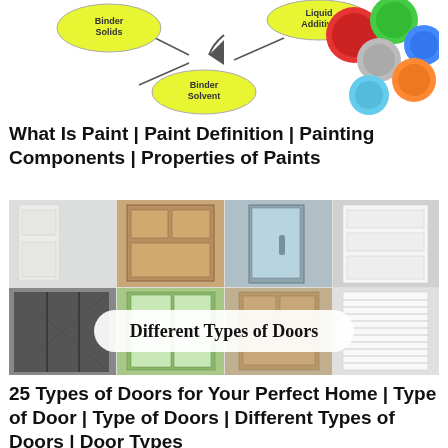[Figure (infographic): Paint components diagram showing yellow ellipses labeled Binder Solids, Liquid Additive, Binder Solvent, plus colorful paint cans (red, green, blue, grey, orange)]
What Is Paint | Paint Definition | Painting Components | Properties of Paints
[Figure (photo): Collage of different types of doors with white overlay text reading 'Different Types of Doors'. Shows interior/exterior doors including white panel doors, wooden door, glass sliding door, folding door, louvered door.]
25 Types of Doors for Your Perfect Home | Type of Door | Type of Doors | Different Types of Doors | Door Types